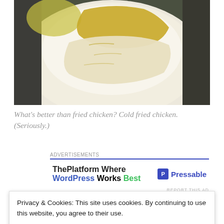[Figure (photo): Close-up photo of fried chicken on a white plate, with yellow and white food visible, dark background edges]
What's better than fried chicken? Cold fried chicken. (Seriously.)
[Figure (screenshot): Advertisement banner: 'ThePlatform Where WordPress Works Best' with Pressable logo]
Last week, I got all that and more at Tasting Table's 'Cue
Privacy & Cookies: This site uses cookies. By continuing to use this website, you agree to their use.
To find out more, including how to control cookies, see here: Cookie Policy
Dimbulators, and unlimited booze, it perfectly renewed my